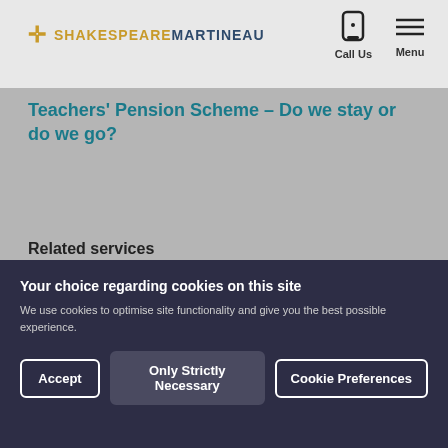SHAKESPEAREMARTINEAU — Call Us | Menu
Teachers' Pension Scheme – Do we stay or do we go?
Related services
Education
Employment
Your choice regarding cookies on this site
We use cookies to optimise site functionality and give you the best possible experience.
Accept | Only Strictly Necessary | Cookie Preferences